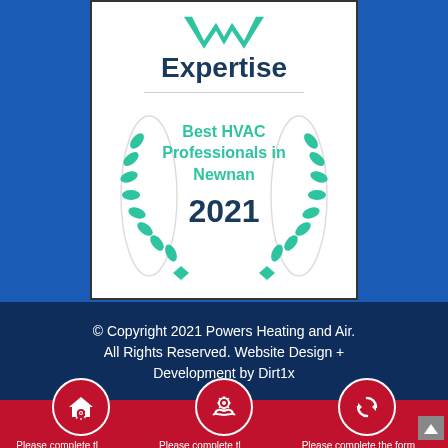[Figure (logo): Expertise award badge showing 'Expertise' logo, laurel wreath in green, text 'Best HVAC Professionals in Newnan', and year '2021', on white card background with dark border, set against blue background]
© Copyright 2021 Powers Heating and Air. All Rights Reserved. Website Design + Development by Dirt1x
[Figure (infographic): Red banner with three white circular icons: house with gear, hands holding gear, and refresh/recycle arrows. Below each icon a white horizontal bar separator and partial text 'Please complete th...' repeated three times. Scroll-to-top arrow button on right side.]